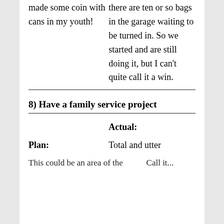made some coin with cans in my youth!
there are ten or so bags in the garage waiting to be turned in. So we started and are still doing it, but I can't quite call it a win.
8) Have a family service project
Actual:
Plan:
Total and utter
This could be an area of the...Call it...